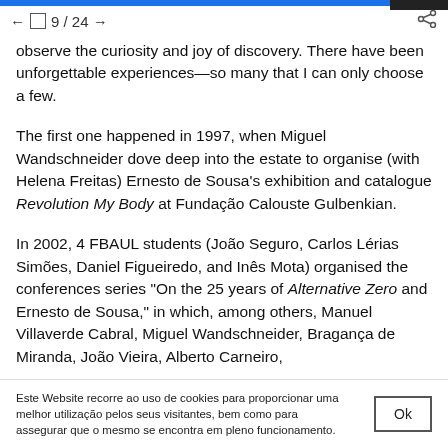← □ 9 / 24 →
observe the curiosity and joy of discovery. There have been unforgettable experiences—so many that I can only choose a few.
The first one happened in 1997, when Miguel Wandschneider dove deep into the estate to organise (with Helena Freitas) Ernesto de Sousa's exhibition and catalogue Revolution My Body at Fundação Calouste Gulbenkian.
In 2002, 4 FBAUL students (João Seguro, Carlos Lérias Simões, Daniel Figueiredo, and Inês Mota) organised the conferences series "On the 25 years of Alternative Zero and Ernesto de Sousa," in which, among others, Manuel Villaverde Cabral, Miguel Wandschneider, Bragança de Miranda, João Vieira, Alberto Carneiro,
Este Website recorre ao uso de cookies para proporcionar uma melhor utilização pelos seus visitantes, bem como para assegurar que o mesmo se encontra em pleno funcionamento.